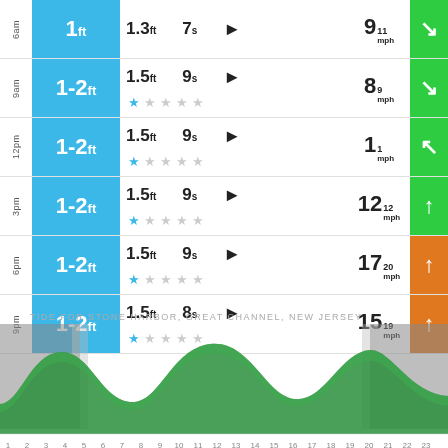| Time | Wave Height | Swell Height | Period | Direction | Stars | Wind Speed | Wind Dir |
| --- | --- | --- | --- | --- | --- | --- | --- |
| 6am | 1ft | 1.3ft | 7s | ↘ | none | 9 11mph | ↘ |
| 9am | 1-2ft | 1.5ft | 9s | ↘ | 1 star | 8 9mph | ↘ |
| 12pm | 1-2ft | 1.5ft | 9s | ↘ | 1 star | 1 1mph | ↖ |
| 3pm | 1-2ft | 1.5ft | 9s | ↘ | 1 star | 12 12mph | ↑ |
| 6pm | 1-2ft | 1.5ft | 9s | ↘ | 1 star | 17 20mph | ↑ |
| 9pm | 1-2ft | 1.5ft | 8s | ↘ | 1 star | 15 19mph | ↑ |
TIDE FOR STONE HARBOR, GREAT CHANNEL, NEW JERSEY
[Figure (area-chart): Tide chart showing wave height over 24 hours, with green area chart and grey shading for night periods. X-axis shows hours 1-23.]